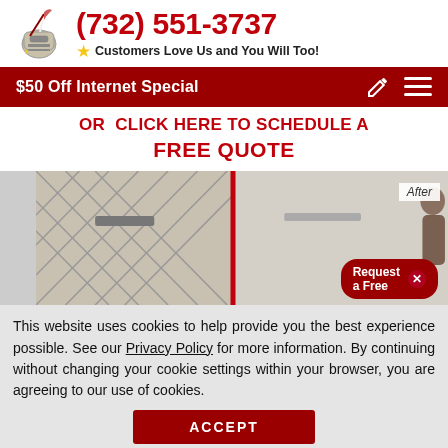[Figure (logo): Knight/pen quill logo icon in silver and red]
(732) 551-3737
Customers Love Us and You Will Too!
$50 Off Internet Special
OR  CLICK HERE TO SCHEDULE A FREE QUOTE
[Figure (photo): Before and after comparison photo of bathroom tile cleaning/restoration. Left side shows dirty grout tile, right side shows clean smooth surface. Red vertical divider between. 'After' label top right. Request a Free popup overlay bottom right.]
This website uses cookies to help provide you the best experience possible. See our Privacy Policy for more information. By continuing without changing your cookie settings within your browser, you are agreeing to our use of cookies.
ACCEPT